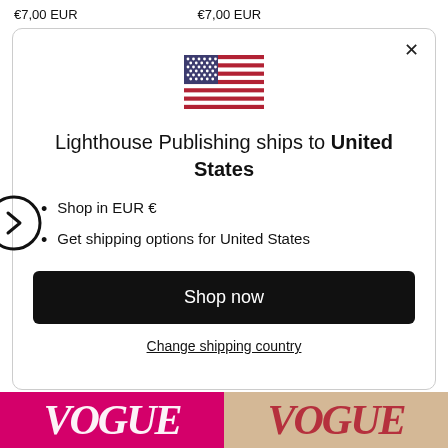€7,00 EUR    €7,00 EUR
[Figure (illustration): US flag emoji/icon centered in modal dialog]
Lighthouse Publishing ships to United States
Shop in EUR €
Get shipping options for United States
Shop now
Change shipping country
[Figure (photo): Bottom strip showing two Vogue magazine covers, one with pink background and one with a model portrait]